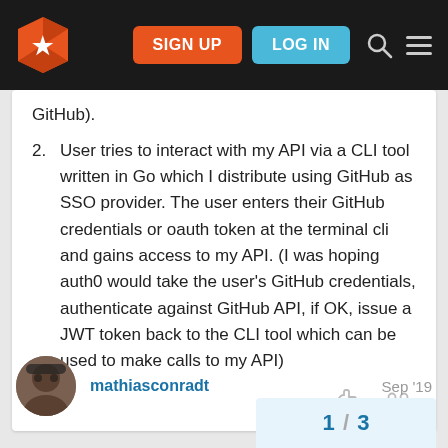[Figure (screenshot): Navigation bar with Auth0 shield logo, SIGN UP button (orange), LOG IN button (blue), search icon, and hamburger menu on dark background]
GitHub).
2. User tries to interact with my API via a CLI tool written in Go which I distribute using GitHub as SSO provider. The user enters their GitHub credentials or oauth token at the terminal cli and gains access to my API. (I was hoping auth0 would take the user’s GitHub credentials, authenticate against GitHub API, if OK, issue a JWT token back to the CLI tool which can be used to make calls to my API)
mathiasconradt
Sep '19
1 / 3